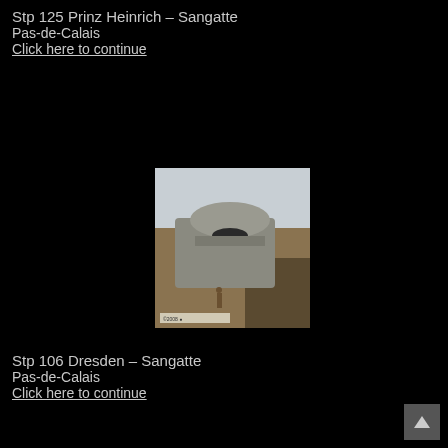Stp 125 Prinz Heinrich – Sangatte
Pas-de-Calais
Click here to continue
[Figure (photo): Photograph of a large concrete WWII bunker structure partially buried in sandy/earthen mounds, with a rounded turret top, viewed from outside. An overcast grey sky is visible above. A small sign and a person are visible at the base.]
Stp 106 Dresden – Sangatte
Pas-de-Calais
Click here to continue